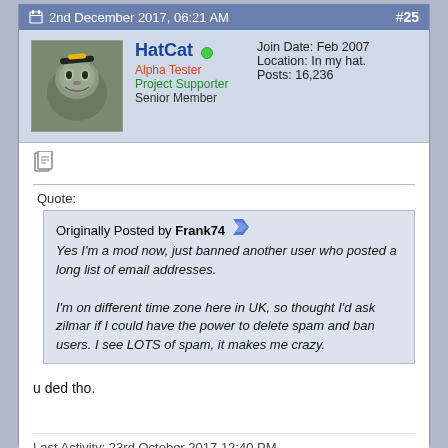2nd December 2017, 06:21 AM   #25
HatCat
Alpha Tester
Project Supporter
Senior Member
Join Date: Feb 2007
Location: In my hat.
Posts: 16,236
Quote:
Originally Posted by Frank74
Yes I'm a mod now, just banned another user who posted a long list of email addresses.

I'm on different time zone here in UK, so thought I'd ask zilmar if I could have the power to delete spam and ban users. I see LOTS of spam, it makes me crazy.
u ded tho.
Last Activity: 23rd October 2017 12:40 PM
lol everybody that zilmar appoints as a mod ends up disappearing off the earth, he's murdering people.